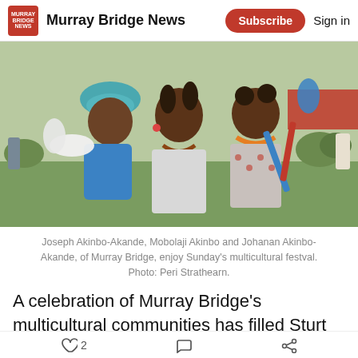Murray Bridge News | Subscribe | Sign in
[Figure (photo): A woman and two children smiling at an outdoor multicultural festival, holding balloon animals. The children are wearing colourful outfits and beaded necklaces. There are tents and trees in the background.]
Joseph Akinbo-Akande, Mobolaji Akinbo and Johanan Akinbo-Akande, of Murray Bridge, enjoy Sunday’s multicultural festval. Photo: Peri Strathearn.
A celebration of Murray Bridge’s multicultural communities has filled Sturt Reserve with colour and